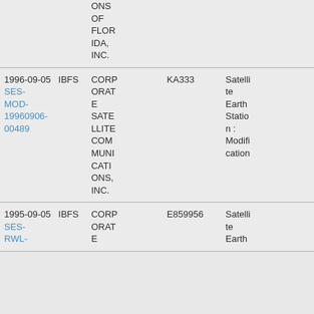| Date / System | Applicant | Call Sign | Service |
| --- | --- | --- | --- |
|  | ONS OF FLORIDA, INC. |  |  |
| 1996-09-05  IBFS SES-MOD-19960906-00489 | CORPORATE SATELLITE COMMUNICATIONS, INC. | KA333 | Satellite Earth Station : Modification |
| 1995-09-05  IBFS SES-RWL-... | CORPORATE ... | E859956 | Satellite Earth ... |